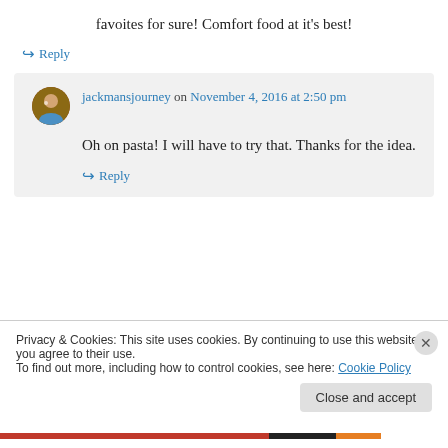favoites for sure! Comfort food at it's best!
↪ Reply
jackmansjourney on November 4, 2016 at 2:50 pm
Oh on pasta! I will have to try that. Thanks for the idea.
↪ Reply
Privacy & Cookies: This site uses cookies. By continuing to use this website, you agree to their use.
To find out more, including how to control cookies, see here: Cookie Policy
Close and accept